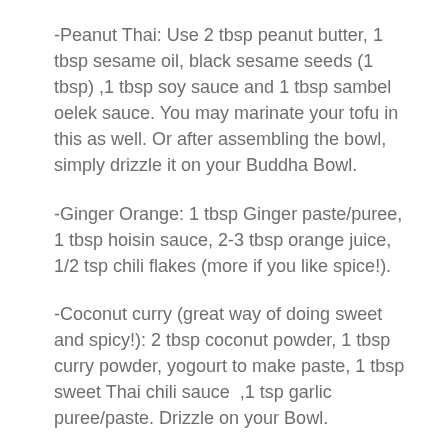-Peanut Thai: Use 2 tbsp peanut butter, 1 tbsp sesame oil, black sesame seeds (1 tbsp) ,1 tbsp soy sauce and 1 tbsp sambel oelek sauce. You may marinate your tofu in this as well. Or after assembling the bowl, simply drizzle it on your Buddha Bowl.
-Ginger Orange: 1 tbsp Ginger paste/puree, 1 tbsp hoisin sauce, 2-3 tbsp orange juice, 1/2 tsp chili flakes (more if you like spice!).
-Coconut curry (great way of doing sweet and spicy!): 2 tbsp coconut powder, 1 tbsp curry powder, yogourt to make paste, 1 tbsp sweet Thai chili sauce  ,1 tsp garlic puree/paste. Drizzle on your Bowl.
Assembly: